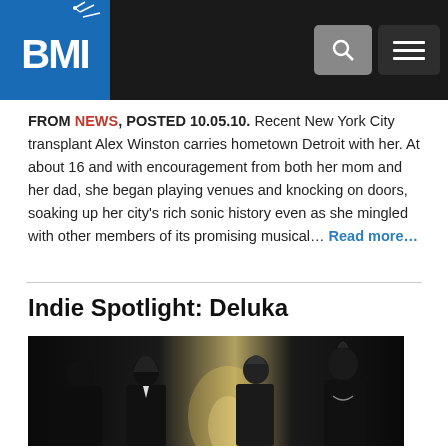BMI
FROM NEWS, POSTED 10.05.10. Recent New York City transplant Alex Winston carries hometown Detroit with her. At about 16 and with encouragement from both her mom and her dad, she began playing venues and knocking on doors, soaking up her city's rich sonic history even as she mingled with other members of its promising musical... Read more...
Indie Spotlight: Deluka
[Figure (photo): Band photo of Deluka — four members in dark clothing posing together against a backlit background]